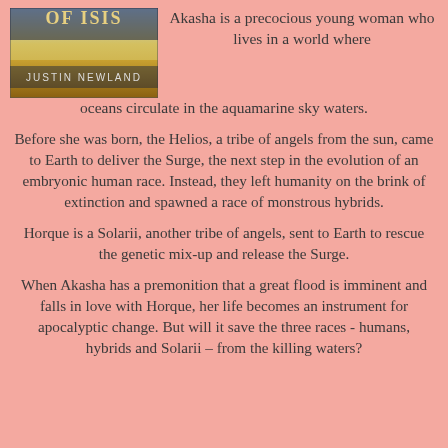[Figure (photo): Book cover of 'Of Isis' by Justin Newland, showing a golden landscape with the text 'JUSTIN NEWLAND' and partial title 'OF ISIS']
Akasha is a precocious young woman who lives in a world where oceans circulate in the aquamarine sky waters.
Before she was born, the Helios, a tribe of angels from the sun, came to Earth to deliver the Surge, the next step in the evolution of an embryonic human race. Instead, they left humanity on the brink of extinction and spawned a race of monstrous hybrids.
Horque is a Solarii, another tribe of angels, sent to Earth to rescue the genetic mix-up and release the Surge.
When Akasha has a premonition that a great flood is imminent and falls in love with Horque, her life becomes an instrument for apocalyptic change. But will it save the three races - humans, hybrids and Solarii – from the killing waters?